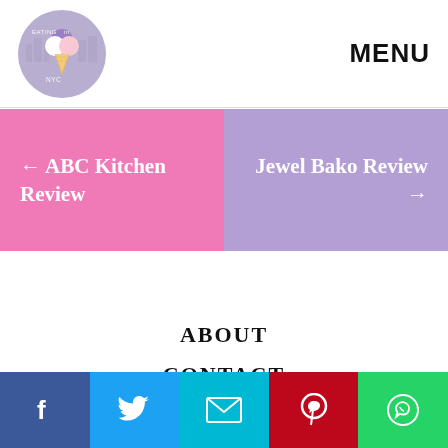[Figure (logo): Eating in NYC circular logo with ice cream cone illustration on lavender background]
MENU
← ABC Kitchen Review
Jewel Bako Review →
ABOUT
CONTACT
[Figure (infographic): Social media share bar with Facebook, Twitter, Email, Pinterest, and WhatsApp buttons]